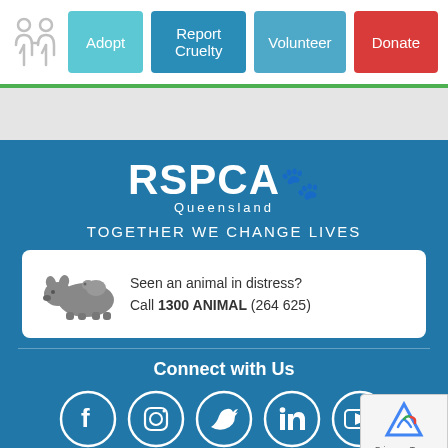[Figure (screenshot): RSPCA Queensland website header with navigation buttons: Adopt (teal), Report Cruelty (blue), Volunteer (teal-blue), Donate (red), and people icon on left.]
[Figure (logo): RSPCA Queensland logo in white on blue background with paw print icons and text 'Queensland' below]
TOGETHER WE CHANGE LIVES
Seen an animal in distress? Call 1300 ANIMAL (264 625)
Connect with Us
[Figure (infographic): Social media icons: Facebook, Instagram, Twitter, LinkedIn, YouTube in white circles on blue background]
[Figure (other): reCAPTCHA badge with privacy and terms text]